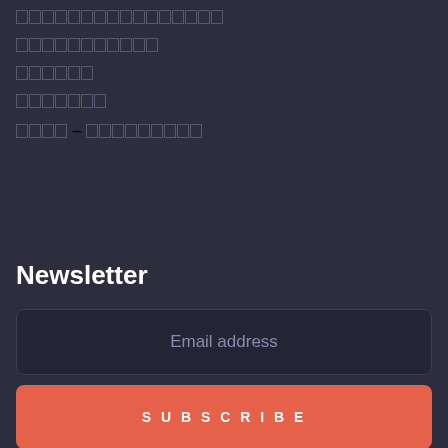[redacted navigation item 1]
[redacted navigation item 2]
[redacted navigation item 3]
[redacted navigation item 4]
[redacted navigation item 5]
Newsletter
Email address
SUBSCRIBE